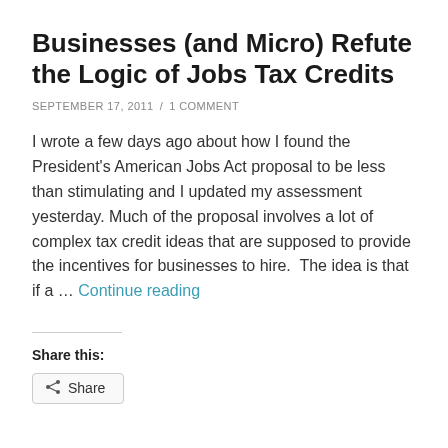Businesses (and Micro) Refute the Logic of Jobs Tax Credits
SEPTEMBER 17, 2011  /  1 COMMENT
I wrote a few days ago about how I found the President's American Jobs Act proposal to be less than stimulating and I updated my assessment yesterday. Much of the proposal involves a lot of complex tax credit ideas that are supposed to provide the incentives for businesses to hire.  The idea is that if a … Continue reading
Share this:
Share